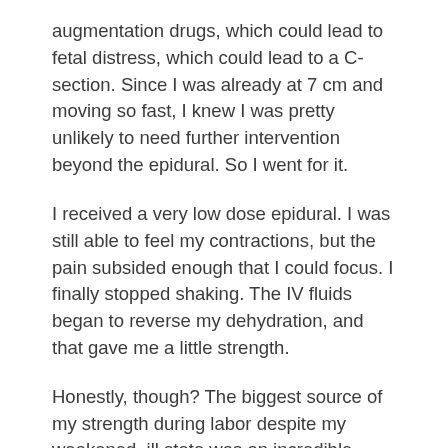augmentation drugs, which could lead to fetal distress, which could lead to a C-section. Since I was already at 7 cm and moving so fast, I knew I was pretty unlikely to need further intervention beyond the epidural. So I went for it.
I received a very low dose epidural. I was still able to feel my contractions, but the pain subsided enough that I could focus. I finally stopped shaking. The IV fluids began to reverse my dehydration, and that gave me a little strength.
Honestly, though? The biggest source of my strength during labor despite my weakened, ill state was an incredible desire to get this baby OUT. I was so done being pregnant and so ready to meet my baby. I knew the ordeal of pregnancy was almost over, and I was willing to do anything it took to get to the finish line as quickly as possible.
We had called my mom when we first headed to the hospital. She lives an hour and a half away, but she figured she had